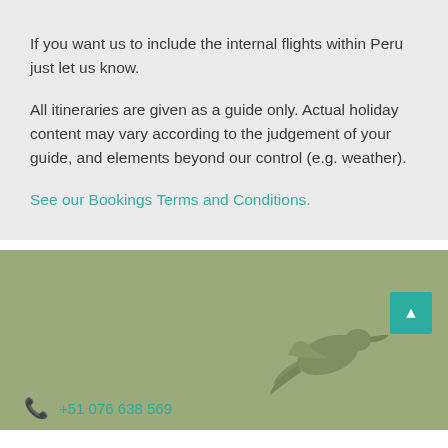If you want us to include the internal flights within Peru just let us know.
All itineraries are given as a guide only. Actual holiday content may vary according to the judgement of your guide, and elements beyond our control (e.g. weather).
See our Bookings Terms and Conditions.
[Figure (illustration): Olive/sage green footer banner with a faint bird (hummingbird or similar) watermark illustration, a teal scroll-to-top button with an upward arrow, and a phone icon with number +51 076 638 569 at the bottom left.]
+51 076 638 569